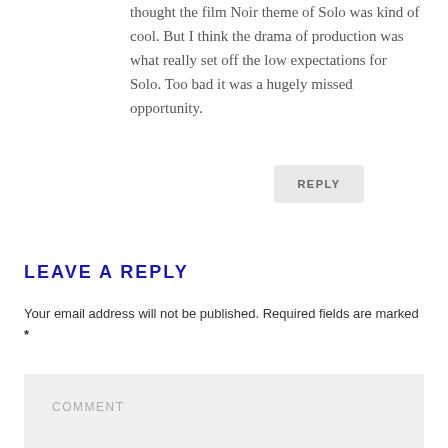thought the film Noir theme of Solo was kind of cool. But I think the drama of production was what really set off the low expectations for Solo. Too bad it was a hugely missed opportunity.
REPLY
LEAVE A REPLY
Your email address will not be published. Required fields are marked *
COMMENT